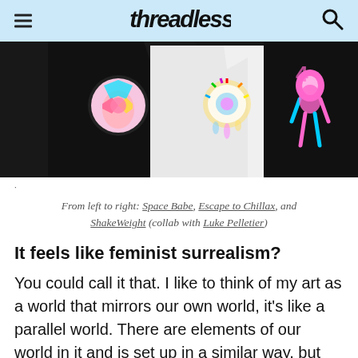Threadless
[Figure (photo): Three t-shirts displayed side by side: a black shirt on the left with a colorful circular design, a white shirt in the middle with a colorful splashing design, and a black shirt on the right with a pink and blue figure design.]
.
From left to right: Space Babe, Escape to Chillax, and ShakeWeight (collab with Luke Pelletier)
It feels like feminist surrealism?
You could call it that. I like to think of my art as a world that mirrors our own world, it's like a parallel world. There are elements of our world in it and is set up in a similar way, but it's also timeless. I prefer to draw older technology but there's also futuristic, advanced tech, as well as